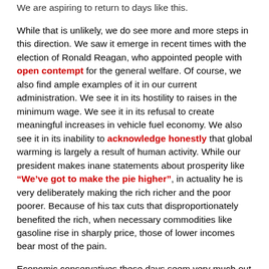We are aspiring to return to days like this.
While that is unlikely, we do see more and more steps in this direction. We saw it emerge in recent times with the election of Ronald Reagan, who appointed people with open contempt for the general welfare. Of course, we also find ample examples of it in our current administration. We see it in its hostility to raises in the minimum wage. We see it in its refusal to create meaningful increases in vehicle fuel economy. We also see it in its inability to acknowledge honestly that global warming is largely a result of human activity. While our president makes inane statements about prosperity like “We’ve got to make the pie higher”, in actuality he is very deliberately making the rich richer and the poor poorer. Because of his tax cuts that disproportionately benefited the rich, when necessary commodities like gasoline rise in sharply price, those of lower incomes bear most of the pain.
Economic conservatives these days seem very much out of touch with reality. For one they seem to assume that liberals and progressives are against capitalism. They think that we embrace unbridled socialism as utopia here on earth. Except for a few liberals on the fringes, this is just plain wrong. Progressives like